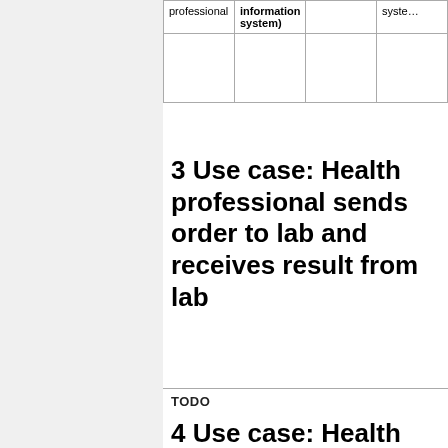| professional | information system) |  | system |
| --- | --- | --- | --- |
|   |   |   |   |
3 Use case: Health professional sends order to lab and receives result from lab
TODO
4 Use case: Health professional retrieves lab results
DO